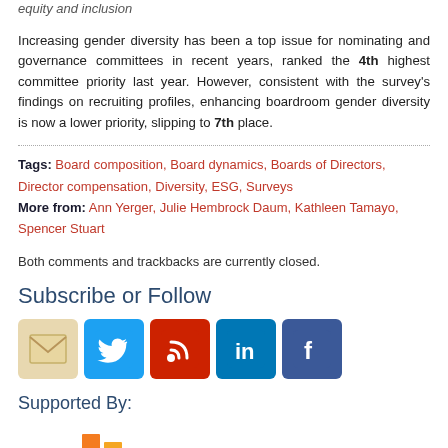equity and inclusion
Increasing gender diversity has been a top issue for nominating and governance committees in recent years, ranked the 4th highest committee priority last year. However, consistent with the survey's findings on recruiting profiles, enhancing boardroom gender diversity is now a lower priority, slipping to 7th place.
Tags: Board composition, Board dynamics, Boards of Directors, Director compensation, Diversity, ESG, Surveys
More from: Ann Yerger, Julie Hembrock Daum, Kathleen Tamayo, Spencer Stuart
Both comments and trackbacks are currently closed.
Subscribe or Follow
[Figure (infographic): Social media icons: email (envelope), Twitter (bird), RSS (wave), LinkedIn (in), Facebook (f)]
Supported By:
[Figure (logo): A stylized bar chart logo in orange and red tones]